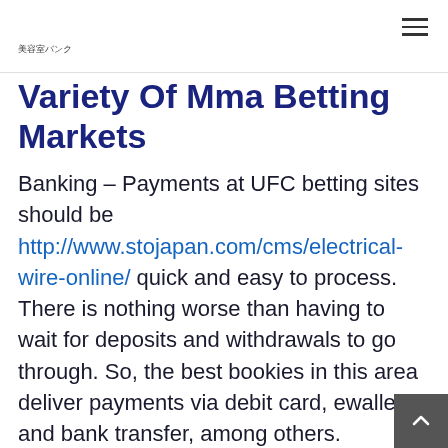美容室バンク
Variety Of Mma Betting Markets
Banking – Payments at UFC betting sites should be http://www.stojapan.com/cms/electrical-wire-online/ quick and easy to process. There is nothing worse than having to wait for deposits and withdrawals to go through. So, the best bookies in this area deliver payments via debit card, ewallets and bank transfer, among others.